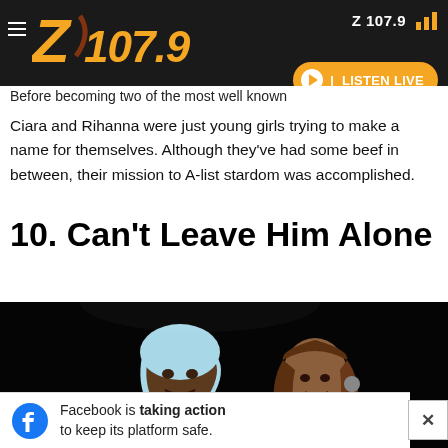Z 107.9
Before becoming two of the most well known Ciara and Rihanna were just young girls trying to make a name for themselves. Although they've had some beef in between, their mission to A-list stardom was accomplished.
10. Can't Leave Him Alone
[Figure (photo): Two performers on a dark stage: a man in a light blue durag and a woman with brown highlighted hair singing into a microphone]
Facebook is taking action to keep its platform safe.